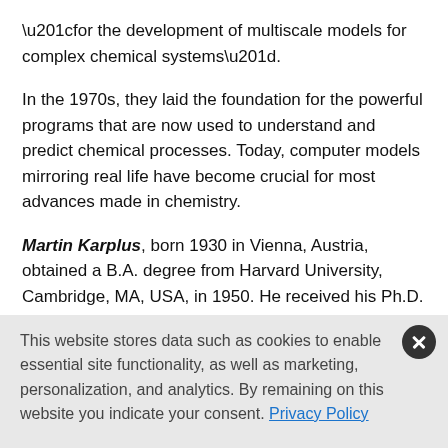“for the development of multiscale models for complex chemical systems”.
In the 1970s, they laid the foundation for the powerful programs that are now used to understand and predict chemical processes. Today, computer models mirroring real life have become crucial for most advances made in chemistry.
Martin Karplus, born 1930 in Vienna, Austria, obtained a B.A. degree from Harvard University, Cambridge, MA, USA, in 1950. He received his Ph.D. in 1953 from the California Institute of Technology, Pasadena, CA, USA, for research carried out under the supervision of Linus Pauling. From 1953 until 1955 he worked with Charles Coulson
This website stores data such as cookies to enable essential site functionality, as well as marketing, personalization, and analytics. By remaining on this website you indicate your consent. Privacy Policy